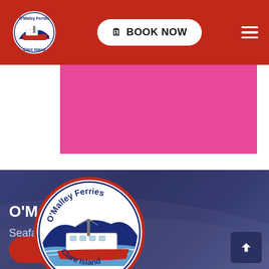[Figure (logo): O'Malley Ferries Clare Island logo - small version in header]
BOOK NOW
[Figure (photo): Pink/magenta colored content area strip]
[Figure (logo): O'Malley Ferries Clare Island oval logo - large version showing red ferry boat with hills in background]
O'Malley Ferries
Seafarers for Generations